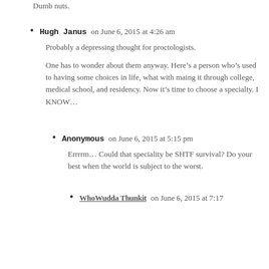Dumb nuts.
Hugh Janus on June 6, 2015 at 4:26 am
Probably a depressing thought for proctologists.
One has to wonder about them anyway. Here’s a person who’s used to having some choices in life, what with maing it through college, medical school, and residency. Now it’s time to choose a specialty. I KNOW…
Anonymous on June 6, 2015 at 5:15 pm
Errrrm… Could that speciality be SHTF survival? Do your best when the world is subject to the worst.
WhoWudda Thunkit on June 6, 2015 at 7:17